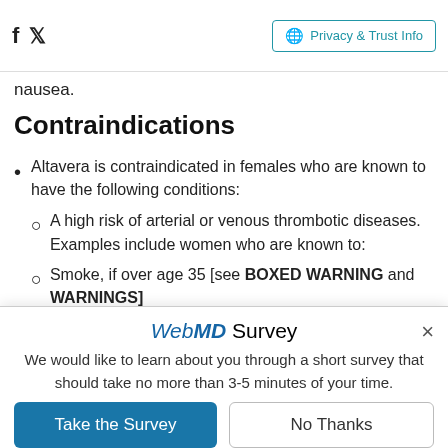Facebook | Twitter | Privacy & Trust Info
nausea.
Contraindications
Altavera is contraindicated in females who are known to have the following conditions:
A high risk of arterial or venous thrombotic diseases. Examples include women who are known to:
Smoke, if over age 35 [see BOXED WARNING and WARNINGS]
WebMD Survey
We would like to learn about you through a short survey that should take no more than 3-5 minutes of your time.
Take the Survey | No Thanks
This survey is being conducted by the WebMD Marketing Research department. All information will be used in a manner consistent with the WebMD privacy policy.